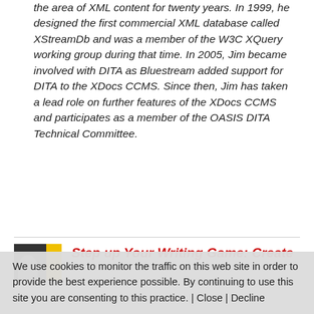the area of XML content for twenty years. In 1999, he designed the first commercial XML database called XStreamDb and was a member of the W3C XQuery working group during that time. In 2005, Jim became involved with DITA as Bluestream added support for DITA to the XDocs CCMS. Since then, Jim has taken a lead role on further features of the XDocs CCMS and participates as a member of the OASIS DITA Technical Committee.
[Figure (photo): Thumbnail image showing a person in front of a dark background with a yellow accent strip on the right side]
Step up Your Writing Game: Create
We use cookies to monitor the traffic on this web site in order to provide the best experience possible. By continuing to use this site you are consenting to this practice. | Close | Decline